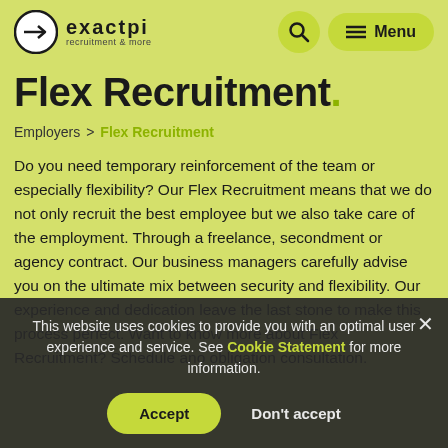exactpi recruitment & more — Menu
Flex Recruitment.
Employers > Flex Recruitment
Do you need temporary reinforcement of the team or especially flexibility? Our Flex Recruitment means that we do not only recruit the best employee but we also take care of the employment. Through a freelance, secondment or agency contract. Our business managers carefully advise you on the ultimate mix between security and flexibility. Our experience and dedication leave the last stone to make this process perfect. Want to know more about Flex Recruitment? Schedule ano obligation consultation.
This website uses cookies to provide you with an optimal user experience and service. See Cookie Statement for more information. Accept Don't accept